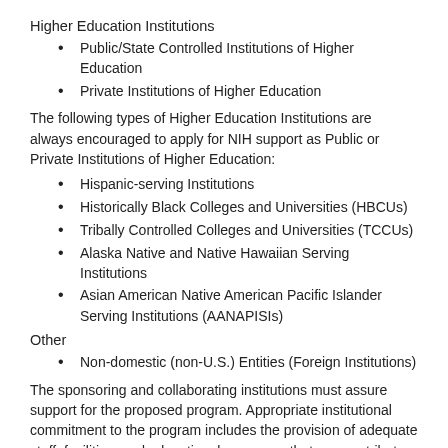Higher Education Institutions
Public/State Controlled Institutions of Higher Education
Private Institutions of Higher Education
The following types of Higher Education Institutions are always encouraged to apply for NIH support as Public or Private Institutions of Higher Education:
Hispanic-serving Institutions
Historically Black Colleges and Universities (HBCUs)
Tribally Controlled Colleges and Universities (TCCUs)
Alaska Native and Native Hawaiian Serving Institutions
Asian American Native American Pacific Islander Serving Institutions (AANAPISIs)
Other
Non-domestic (non-U.S.) Entities (Foreign Institutions)
The sponsoring and collaborating institutions must assure support for the proposed program. Appropriate institutional commitment to the program includes the provision of adequate staff, facilities, and educational resources that can contribute to the planned program.
The applicant and collaborating institutions must have a high quality bioethics research program in the area(s) proposed under this FOA